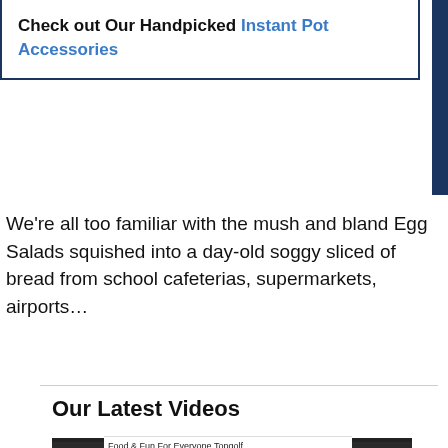Check out Our Handpicked Instant Pot Accessories
We're all too familiar with the mush and bland Egg Salads squished into a day-old soggy sliced of bread from school cafeterias, supermarkets, airports…
Our Latest Videos
[Figure (screenshot): Video player thumbnail with dark background, AMY+JACKY logo at top left, and a play button arrow in the center]
[Figure (screenshot): Advertisement banner for Topgolf: Food & Fun For Everyone, with Topgolf logo and navigation arrow icon]